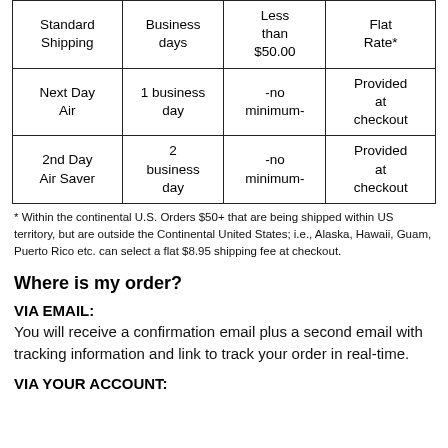|  | Business days | Less than $50.00 | Flat Rate* |
| --- | --- | --- | --- |
| Standard Shipping | Business days | Less than $50.00 | Flat Rate* |
| Next Day Air | 1 business day | -no minimum- | Provided at checkout |
| 2nd Day Air Saver | 2 business day | -no minimum- | Provided at checkout |
* Within the continental U.S. Orders $50+ that are being shipped within US territory, but are outside the Continental United States; i.e., Alaska, Hawaii, Guam, Puerto Rico etc. can select a flat $8.95 shipping fee at checkout.
Where is my order?
VIA EMAIL:
You will receive a confirmation email plus a second email with tracking information and link to track your order in real-time.
VIA YOUR ACCOUNT: